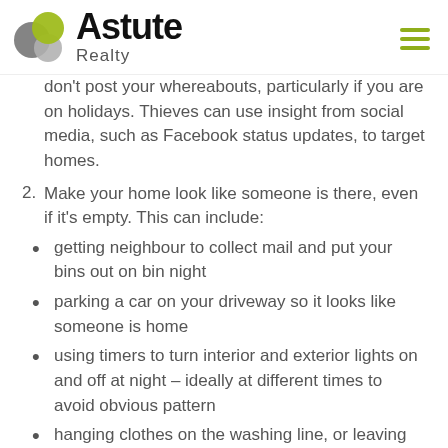Astute Realty
don't post your whereabouts, particularly if you are on holidays. Thieves can use insight from social media, such as Facebook status updates, to target homes.
2. Make your home look like someone is there, even if it's empty. This can include:
getting neighbour to collect mail and put your bins out on bin night
parking a car on your driveway so it looks like someone is home
using timers to turn interior and exterior lights on and off at night – ideally at different times to avoid obvious pattern
hanging clothes on the washing line, or leaving